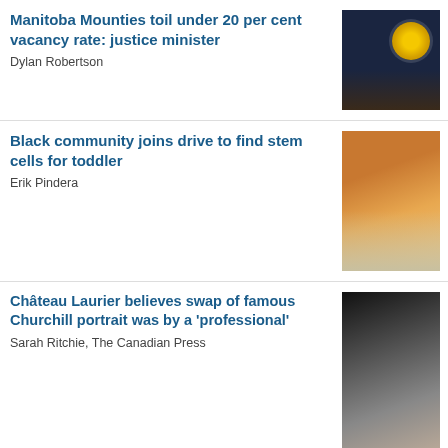Manitoba Mounties toil under 20 per cent vacancy rate: justice minister
Dylan Robertson
[Figure (photo): RCMP logo/badge on dark wood-paneled wall with navy background]
Black community joins drive to find stem cells for toddler
Erik Pindera
[Figure (photo): Adult in orange shirt holding a young toddler/child in yellow outfit]
Château Laurier believes swap of famous Churchill portrait was by a 'professional'
Sarah Ritchie, The Canadian Press
[Figure (photo): Black and white photo of Churchill alongside a woman in pink jacket]
Advertisement
Advertise With Us
[Figure (infographic): Ad banner: LIMITED-TIME OFFER 150-DAY DIGITAL SUBSCRIPTION $150, dark blue background with historical newspaper imagery]